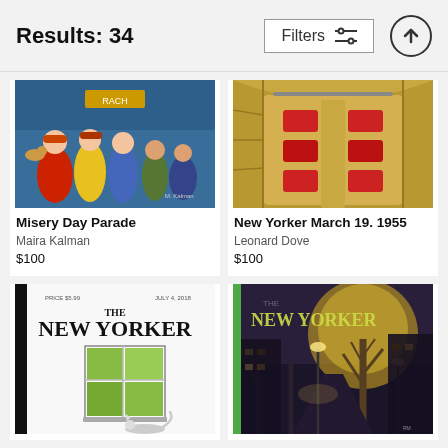Results: 34
[Figure (illustration): Colorful painting of people at a parade or crowd scene with bright colors - New Yorker cover art]
Misery Day Parade
Maira Kalman
$100
[Figure (illustration): View looking down into a subway or bus with red seats from above - New Yorker cover art]
New Yorker March 19. 1955
Leonard Dove
$100
[Figure (illustration): The New Yorker magazine cover showing a window with green foliage and a cat]
[Figure (illustration): The New Yorker magazine cover showing a dark autumn street scene with yellow tree and street lamp]